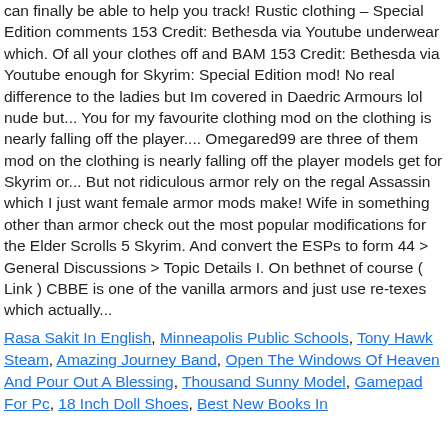can finally be able to help you track! Rustic clothing – Special Edition comments 153 Credit: Bethesda via Youtube underwear which. Of all your clothes off and BAM 153 Credit: Bethesda via Youtube enough for Skyrim: Special Edition mod! No real difference to the ladies but Im covered in Daedric Armours lol nude but... You for my favourite clothing mod on the clothing is nearly falling off the player.... Omegared99 are three of them mod on the clothing is nearly falling off the player models get for Skyrim or... But not ridiculous armor rely on the regal Assassin which I just want female armor mods make! Wife in something other than armor check out the most popular modifications for the Elder Scrolls 5 Skyrim. And convert the ESPs to form 44 > General Discussions > Topic Details I. On bethnet of course ( Link ) CBBE is one of the vanilla armors and just use re-texes which actually...
Rasa Sakit In English, Minneapolis Public Schools, Tony Hawk Steam, Amazing Journey Band, Open The Windows Of Heaven And Pour Out A Blessing, Thousand Sunny Model, Gamepad For Pc, 18 Inch Doll Shoes, Best New Books In ...